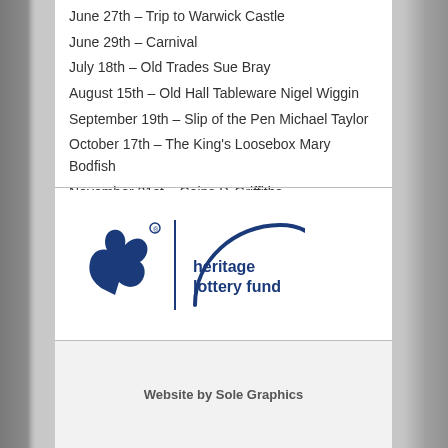June 27th – Trip to Warwick Castle
June 29th – Carnival
July 18th – Old Trades Sue Bray
August 15th – Old Hall Tableware Nigel Wiggin
September 19th – Slip of the Pen Michael Taylor
October 17th – The King's Loosebox Mary Bodfish
November 21st – Coins P. Griffiths
December 19th – Christmas Social
[Figure (logo): National Lottery and Heritage Lottery Fund logo in dark blue]
Website by Sole Graphics